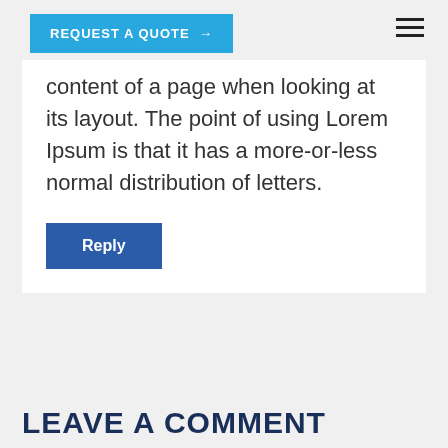REQUEST A QUOTE →
content of a page when looking at its layout. The point of using Lorem Ipsum is that it has a more-or-less normal distribution of letters.
Reply
LEAVE A COMMENT